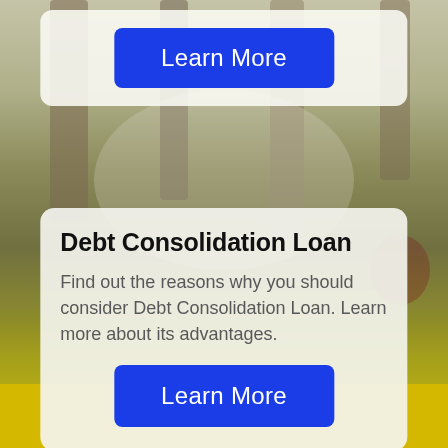[Figure (photo): Blurred outdoor background photo showing green/yellow ground (grass/moss), with vertical brown/grey elements (tree trunks or legs of people) visible in the upper portion. Background transitions to golden/yellow at the bottom.]
Learn More
Debt Consolidation Loan
Find out the reasons why you should consider Debt Consolidation Loan. Learn more about its advantages.
Learn More